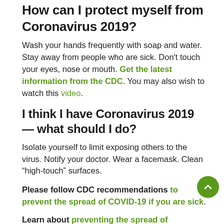How can I protect myself from Coronavirus 2019?
Wash your hands frequently with soap and water. Stay away from people who are sick. Don't touch your eyes, nose or mouth. Get the latest information from the CDC. You may also wish to watch this video.
I think I have Coronavirus 2019 — what should I do?
Isolate yourself to limit exposing others to the virus. Notify your doctor. Wear a facemask. Clean “high-touch” surfaces.
Please follow CDC recommendations to prevent the spread of COVID-19 if you are sick.
Learn about preventing the spread of coronavirus disease 2019 in homes and residential communities.
Learn even more about preventing COVID-19 spread